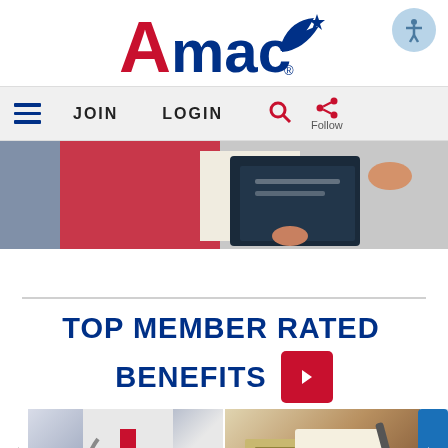[Figure (logo): AMAC logo with red capital A and dark blue 'mac' text with swoosh/wing design and star, registered trademark symbol]
[Figure (screenshot): Navigation bar with hamburger menu, JOIN, LOGIN, search icon, and share/follow icons on light gray background]
[Figure (photo): Hero image showing people reviewing insurance policy documents including a binder/folder]
TOP MEMBER RATED BENEFITS
[Figure (photo): Thumbnail image of doctor holding Medicare sign tablet]
[Figure (photo): Thumbnail image of life insurance documents with pen and money]